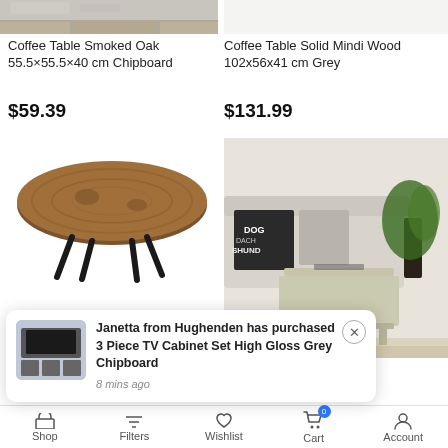[Figure (photo): Top-left product: Coffee Table Smoked Oak - partial image of rug and wood floor]
[Figure (photo): Top-right product: Coffee Table Solid Mindi Wood - partial image (cropped)]
Coffee Table Smoked Oak 55.5×55.5×40 cm Chipboard
$59.39
Coffee Table Solid Mindi Wood 102x56x41 cm Grey
$131.99
[Figure (photo): Round reclaimed wood coffee table with black metal legs on white background]
[Figure (photo): Light wood square coffee table in living room setting with sofa and plant]
e Sonoma Oak m Engineered
[Figure (screenshot): Notification popup: Janetta from Hughenden has purchased 3 Piece TV Cabinet Set High Gloss Grey Chipboard, 8 mins ago, with thumbnail of TV cabinet]
Shop   Filters   Wishlist   Cart   Account